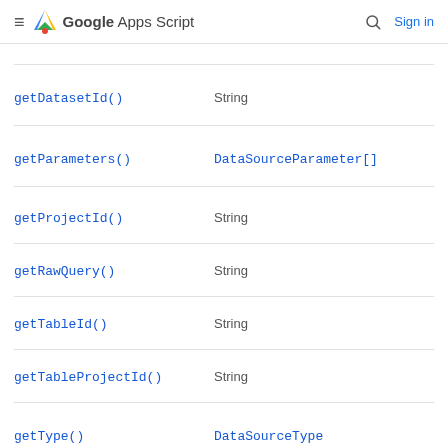Google Apps Script  Sign in
| Method | Return type |
| --- | --- |
| getDatasetId() | String |
| getParameters() | DataSourceParameter[] |
| getProjectId() | String |
| getRawQuery() | String |
| getTableId() | String |
| getTableProjectId() | String |
| getType() | DataSourceType |
| removeAllParameters() | BigQueryDataSourceSpecBuilde |